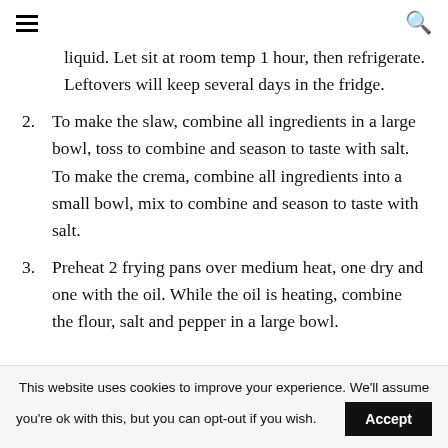≡  🔍
liquid. Let sit at room temp 1 hour, then refrigerate. Leftovers will keep several days in the fridge.
2. To make the slaw, combine all ingredients in a large bowl, toss to combine and season to taste with salt. To make the crema, combine all ingredients into a small bowl, mix to combine and season to taste with salt.
3. Preheat 2 frying pans over medium heat, one dry and one with the oil. While the oil is heating, combine the flour, salt and pepper in a large bowl.
This website uses cookies to improve your experience. We'll assume you're ok with this, but you can opt-out if you wish. Accept